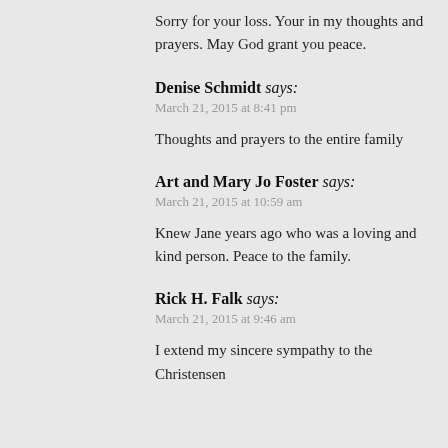Sorry for your loss. Your in my thoughts and prayers. May God grant you peace.
Denise Schmidt says:
March 21, 2015 at 8:41 pm
Thoughts and prayers to the entire family
Art and Mary Jo Foster says:
March 21, 2015 at 10:59 am
Knew Jane years ago who was a loving and kind person. Peace to the family.
Rick H. Falk says:
March 21, 2015 at 9:46 am
I extend my sincere sympathy to the Christensen